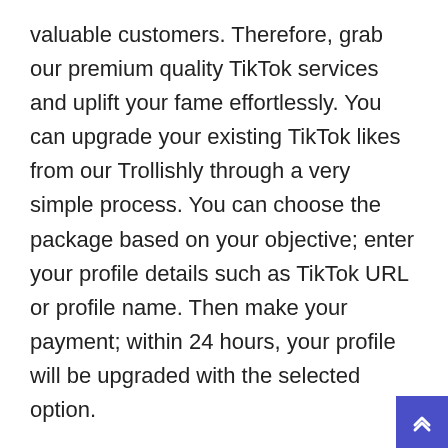valuable customers. Therefore, grab our premium quality TikTok services and uplift your fame effortlessly. You can upgrade your existing TikTok likes from our Trollishly through a very simple process. You can choose the package based on your objective; enter your profile details such as TikTok URL or profile name. Then make your payment; within 24 hours, your profile will be upgraded with the selected option.
The editing features within TikTok make it easy to create entertaining content, but what you post, and how often, will be determined with experimentation. Chipotle is a good example of getting more followers by creating their own